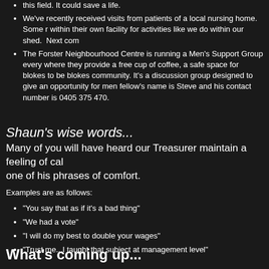this field. It could save a life.
We've recently received visits from patients of a local nursing home. Some r within their own facility for activities like we do within our shed. Next com
The Forster Neighbourhood Centre is running a Men's Support Group every where they provide a free cup of coffee, a safe space for blokes to be blokes community. It's a discussion group designed to give an opportunity for men fellow's name is Steve and his contact number is 0405 375 470.
Shaun's wise words...
Many of you will have heard our Treasurer maintain a feeling of cal one of his phrases of comfort.
Examples are as follows:
"You say that as if it's a bad thing"
"We had a vote"
"I will do my best to double your wages"
"Trust me...I taught that subject at management level"
What's coming up...